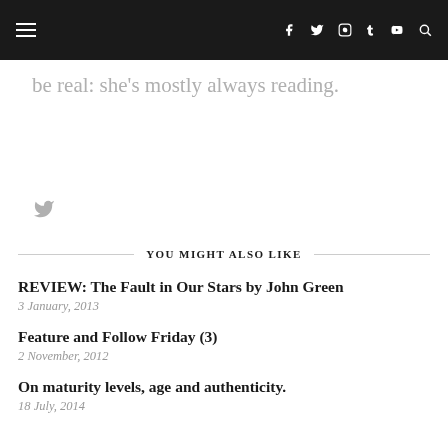Navigation bar with hamburger menu and social icons (Facebook, Twitter, Instagram, Tumblr, YouTube, Search)
be real: she's mostly always reading.
[Figure (other): Twitter bird icon in grey]
YOU MIGHT ALSO LIKE
REVIEW: The Fault in Our Stars by John Green
3 January, 2013
Feature and Follow Friday (3)
2 November, 2012
On maturity levels, age and authenticity.
18 July, 2014